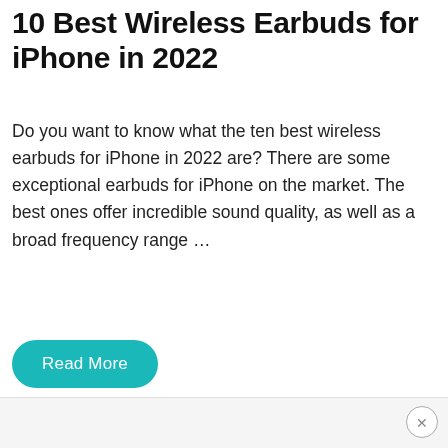10 Best Wireless Earbuds for iPhone in 2022
Do you want to know what the ten best wireless earbuds for iPhone in 2022 are? There are some exceptional earbuds for iPhone on the market. The best ones offer incredible sound quality, as well as a broad frequency range …
Read More